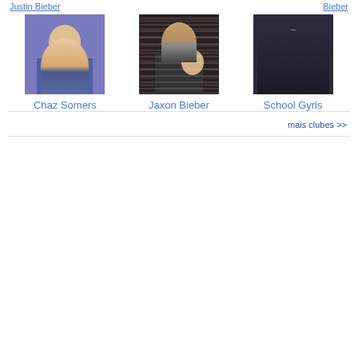Justin Bieber
Bieber
[Figure (photo): Thumbnail photo of Chaz Somers - a person in a purple/blue top]
Chaz Somers
[Figure (photo): Thumbnail photo of Jaxon Bieber - a person in a striped shirt holding a baby]
Jaxon Bieber
[Figure (photo): Thumbnail photo of School Gyrls - group of girls in dark clothing]
School Gyrls
mais clubes >>